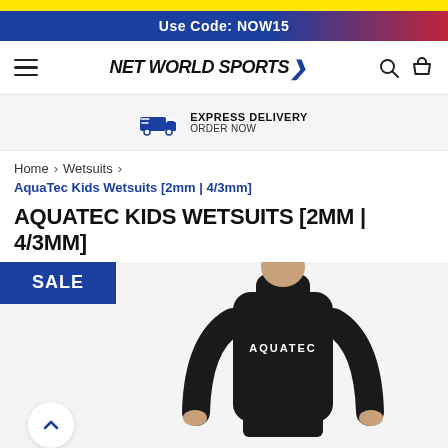Use Code: NOW15
NET WORLD SPORTS
EXPRESS DELIVERY ORDER NOW
Home > Wetsuits >
AquaTec Kids Wetsuits [2mm | 4/3mm]
AQUATEC KIDS WETSUITS [2MM | 4/3MM]
[Figure (photo): Black AquaTec kids wetsuit on a model with SALE badge overlay and scroll-up button]
SALE